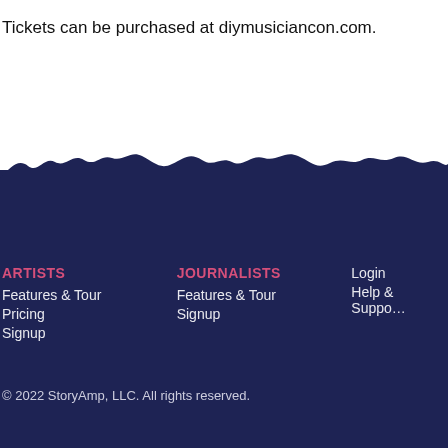Tickets can be purchased at diymusiciancon.com.
[Figure (illustration): Torn dark navy paper edge transitioning from white background above to dark navy section below, creating a torn paper visual effect.]
ARTISTS
Features & Tour
Pricing
Signup
JOURNALISTS
Features & Tour
Signup
Login
Help & Support
© 2022 StoryAmp, LLC. All rights reserved.